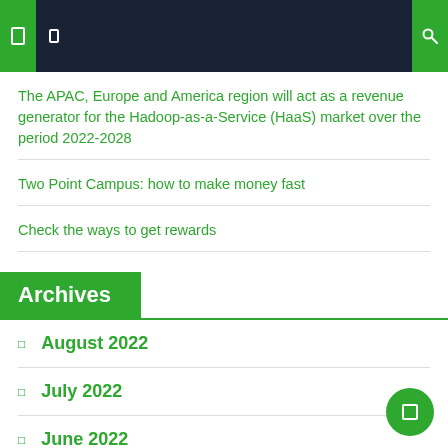Navigation header bar with icons
The APAC, Europe and America region will act as a revenue generator for the Hadoop-as-a-Service (HaaS) market over the period 2022-2028
Two Point Campus: how to make money fast
Check the ways to get rewards
Archives
August 2022
July 2022
June 2022